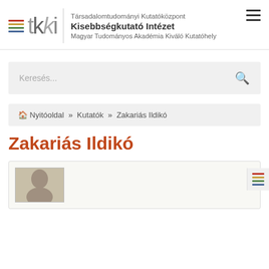Társadalomtudományi Kutatóközpont Kisebbségkutató Intézet Magyar Tudományos Akadémia Kiváló Kutatóhely
Keresés...
🏠 Nyitóoldal » Kutatók » Zakariás Ildikó
Zakariás Ildikó
[Figure (photo): Portrait photo of Zakariás Ildikó, partially visible at bottom of page]